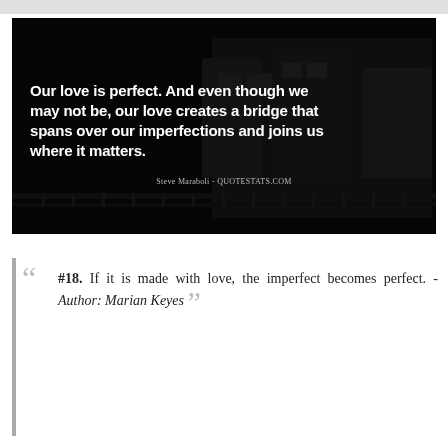[Figure (photo): Dark atmospheric photograph of a train station or railway with trains, overlaid with a white bold quote text and attribution to Steve Maraboli and QUOTESTATS.COM]
#18. If it is made with love, the imperfect becomes perfect. - Author: Marian Keyes